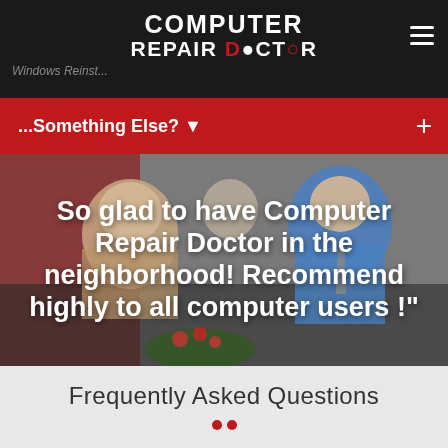COMPUTER REPAIR DOCTOR
...Something Else? ▼
[Figure (photo): Two people sitting on a sofa, an older man and a younger technician in a blue Computer Repair Doctor shirt, with a red background]
So glad to have Computer Repair Doctor in the neighborhood! Recommend highly to all computer users !"
Frequently Asked Questions